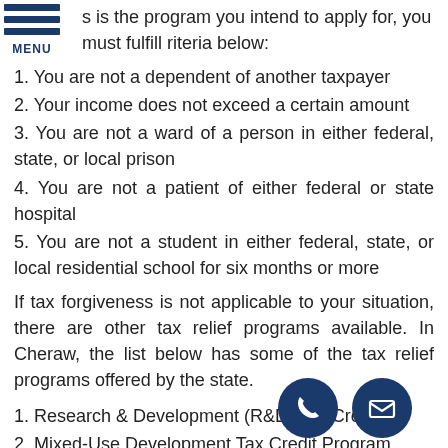MENU
s is the program you intend to apply for, you must fulfill riteria below:
1. You are not a dependent of another taxpayer
2. Your income does not exceed a certain amount
3. You are not a ward of a person in either federal, state, or local prison
4. You are not a patient of either federal or state hospital
5. You are not a student in either federal, state, or local residential school for six months or more
If tax forgiveness is not applicable to your situation, there are other tax relief programs available. In Cheraw, the list below has some of the tax relief programs offered by the state.
1. Research & Development (R&D) Tax Credit
2. Mixed-Use Development Tax Credit Program
3. Malt Beverage Tax Credit Program
4. Educational Tax Credits
5. Keystone Innovation Zone (KIZ) Tax Credit